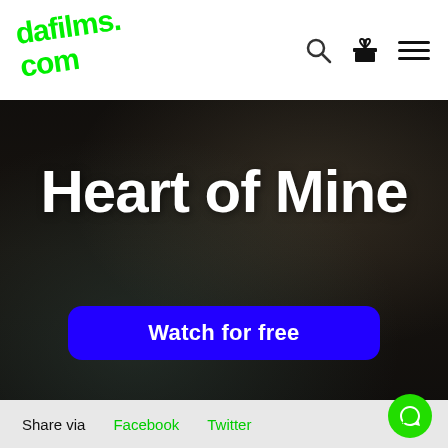dafilms.com
[Figure (screenshot): Hero banner showing the film 'Heart of Mine' with a dark cinematic background image of two people, a large white bold title 'Heart of Mine', and a blue 'Watch for free' button]
Share via   Facebook   Twitter